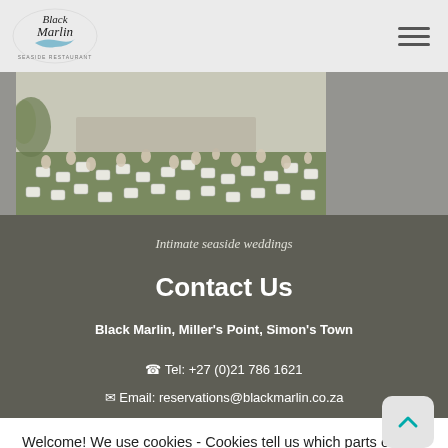Black Marlin logo and hamburger menu
[Figure (photo): Outdoor wedding reception scene at seaside venue, guests seated on white chairs on grass, photographed from above. Photo is cropped at top of page with grey background on sides.]
Intimate seaside weddings
Contact Us
Black Marlin, Miller's Point, Simon's Town
☎ Tel: +27 (0)21 786 1621
✉ Email: reservations@blackmarlin.co.za
Welcome! We use cookies - Cookies tell us which parts of our websites you visited, help us measure the effectiveness of ads and web searches, and give us insights into user behaviour, so that we can improve our communications and products. Learn more about this in our cookie notice.